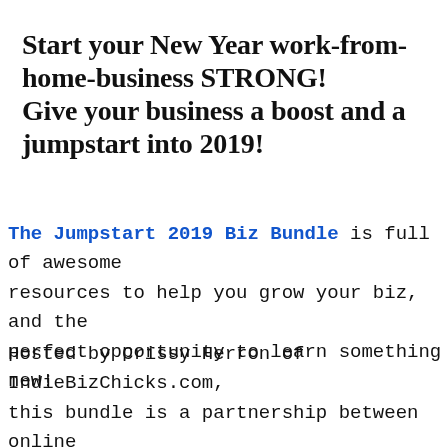Start your New Year work-from-home-business STRONG! Give your business a boost and a jumpstart into 2019!
The Jumpstart 2019 Biz Bundle is full of awesome resources to help you grow your biz, and the perfect opportunity to learn something new!
Hosted by Crissy Herron of IndieBizChicks.com, this bundle is a partnership between online business owners and experts in their field.